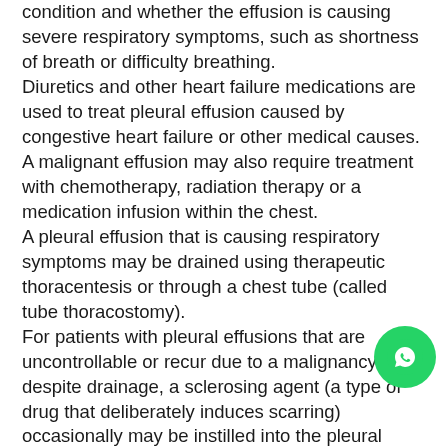condition and whether the effusion is causing severe respiratory symptoms, such as shortness of breath or difficulty breathing. Diuretics and other heart failure medications are used to treat pleural effusion caused by congestive heart failure or other medical causes. A malignant effusion may also require treatment with chemotherapy, radiation therapy or a medication infusion within the chest. A pleural effusion that is causing respiratory symptoms may be drained using therapeutic thoracentesis or through a chest tube (called tube thoracostomy). For patients with pleural effusions that are uncontrollable or recur due to a malignancy despite drainage, a sclerosing agent (a type of drug that deliberately induces scarring) occasionally may be instilled into the pleural cavity through a tube thoracostomy to create a fibrosis (excessive fibrous tissue) of the pleura (pleural sclerosis). Pleural sclerosis performed with sclerosing agents (such as talc, doxycycline, and tetracycline) is 50 percent successful
[Figure (other): WhatsApp contact button (green circle with phone/message icon)]